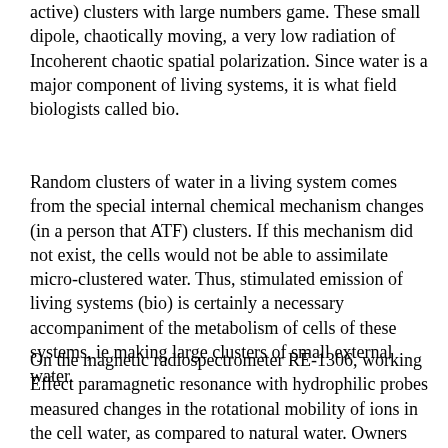active) clusters with large numbers game. These small dipole, chaotically moving, a very low radiation of Incoherent chaotic spatial polarization. Since water is a major component of living systems, it is what field biologists called bio.
Random clusters of water in a living system comes from the special internal chemical mechanism changes (in a person that ATF) clusters. If this mechanism did not exist, the cells would not be able to assimilate micro-clustered water. Thus, stimulated emission of living systems (bio) is certainly a necessary accompaniment of the metabolism of cells of these systems, ie making large clusters of small external water.
On the magnetic radiospectrometer RE-1306, working Effect paramagnetic resonance with hydrophilic probes measured changes in the rotational mobility of ions in the cell water, as compared to natural water. Owners corresponding in the range of 15-25 Hz